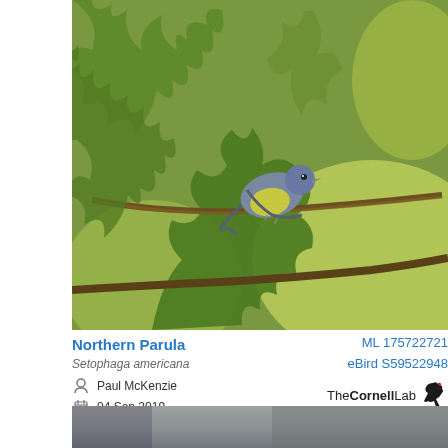[Figure (photo): A Northern Parula warbler perched on a branch among large green oak leaves, photographed in natural outdoor setting. Bird has gray-blue upperparts with yellow-green wash and yellow breast.]
Northern Parula
Setophaga americana
ML 175722721
eBird S59522948
Paul McKenzie
04 Sep 2019
Boone, Missouri, United States
[Figure (logo): The Cornell Lab logo with woodpecker silhouette]
[Figure (photo): Partial photo visible at bottom of page, another bird image.]